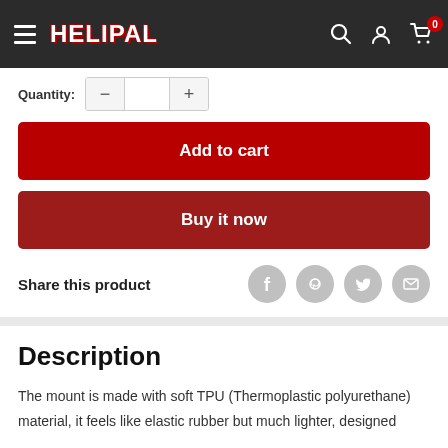HELIPAL
Quantity:
Add to cart
Buy it now
Share this product
Description
The mount is made with soft TPU (Thermoplastic polyurethane) material, it feels like elastic rubber but much lighter, designed